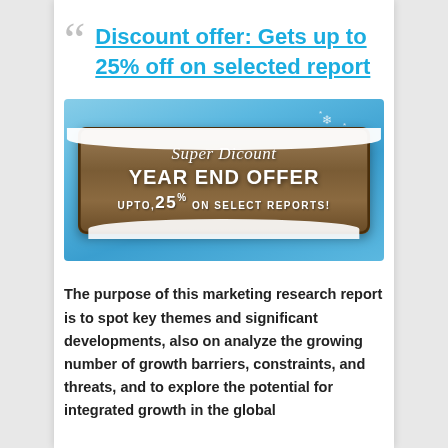Discount offer: Gets up to 25% off on selected report
[Figure (illustration): Winter/holiday themed promotional banner with wooden sign reading 'Super Dicount YEAR END OFFER UPTO 25% ON SELECT REPORTS!' with snow effects on a blue background]
The purpose of this marketing research report is to spot key themes and significant developments, also on analyze the growing number of growth barriers, constraints, and threats, and to explore the potential for integrated growth in the global